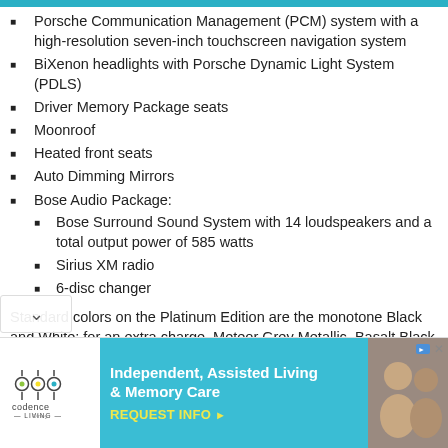Porsche Communication Management (PCM) system with a high-resolution seven-inch touchscreen navigation system
BiXenon headlights with Porsche Dynamic Light System (PDLS)
Driver Memory Package seats
Moonroof
Heated front seats
Auto Dimming Mirrors
Bose Audio Package:
Bose Surround Sound System with 14 loudspeakers and a total output power of 585 watts
Sirius XM radio
6-disc changer
Standard colors on the Platinum Edition are the monotone Black and White; for an extra charge, Meteor Grey Metallic, Basalt Black c, and Mahogany Metallic are available. In addition, the Edition tis also being offered in Carrara White Metallic
[Figure (other): Advertisement banner for Codence Living senior care community (Independent, Assisted Living & Memory Care) with logo and REQUEST INFO call to action]